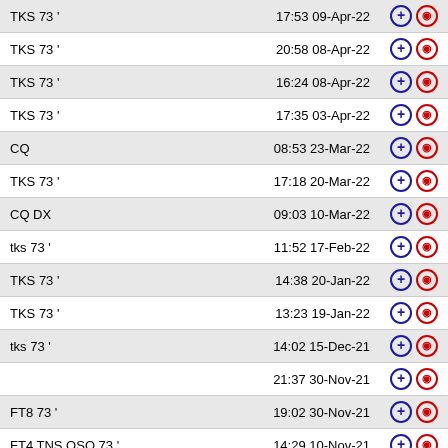| Message | DateTime | Actions |
| --- | --- | --- |
| TKS 73 ' | 17:53 09-Apr-22 | + ⊙ |
| TKS 73 ' | 20:58 08-Apr-22 | + ⊙ |
| TKS 73 ' | 16:24 08-Apr-22 | + ⊙ |
| TKS 73 ' | 17:35 03-Apr-22 | + ⊙ |
| CQ | 08:53 23-Mar-22 | + ⊙ |
| TKS 73 ' | 17:18 20-Mar-22 | + ⊙ |
| CQ DX | 09:03 10-Mar-22 | + ⊙ |
| tks 73 ' | 11:52 17-Feb-22 | + ⊙ |
| TKS 73 ' | 14:38 20-Jan-22 | + ⊙ |
| TKS 73 ' | 13:23 19-Jan-22 | + ⊙ |
| tks 73 ' | 14:02 15-Dec-21 | + ⊙ |
|  | 21:37 30-Nov-21 | + ⊙ |
| FT8 73 ' | 19:02 30-Nov-21 | + ⊙ |
| FT4 TNS QSO 73 ' | 14:29 10-Nov-21 | + ⊙ |
| tnks 73 ' | 14:48 04-Nov-21 | + ⊙ |
| Tnx qso 5 up | 09:33 07-Oct-21 | + ⊙ |
| TNKS 73 | 17:52 20-Sep-21 | + ⊙ |
| THANKS 73 ' 5 UP | 18:07 17-Sep-21 | + ⊙ |